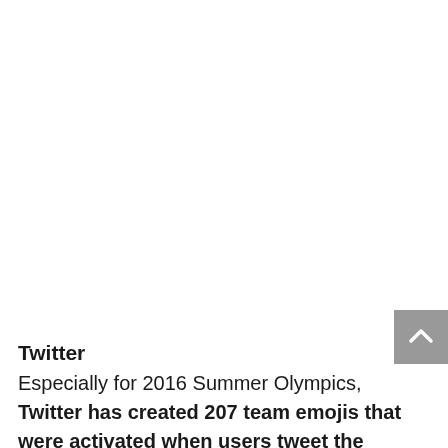Twitter
Especially for 2016 Summer Olympics, Twitter has created 207 team emojis that were activated when users tweet the three-letter county code hashtag for their